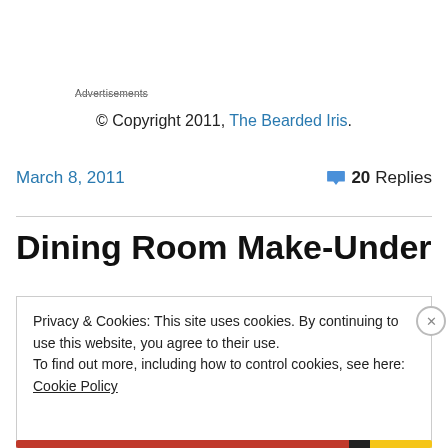Advertisements
© Copyright 2011, The Bearded Iris.
March 8, 2011
20 Replies
Dining Room Make-Under
Privacy & Cookies: This site uses cookies. By continuing to use this website, you agree to their use.
To find out more, including how to control cookies, see here: Cookie Policy
Close and accept